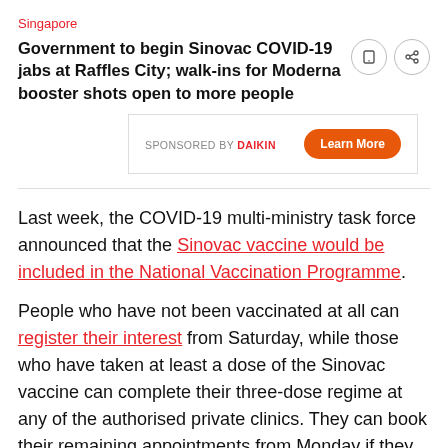Singapore
Government to begin Sinovac COVID-19 jabs at Raffles City; walk-ins for Moderna booster shots open to more people
[Figure (other): Sponsored advertisement box: SPONSORED BY DAIKIN with a Learn More button]
Last week, the COVID-19 multi-ministry task force announced that the Sinovac vaccine would be included in the National Vaccination Programme.
People who have not been vaccinated at all can register their interest from Saturday, while those who have taken at least a dose of the Sinovac vaccine can complete their three-dose regime at any of the authorised private clinics. They can book their remaining appointments from Monday if they have not done so.